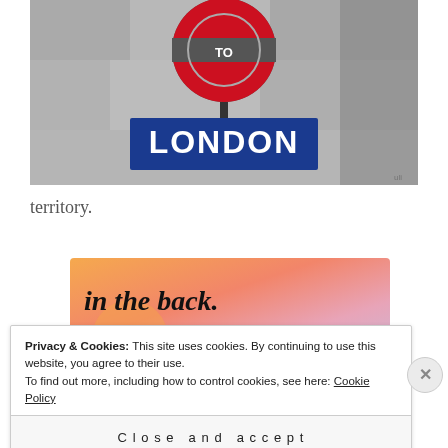[Figure (photo): London Underground roundel sign and a blue 'TO LONDON' destination board sign, against a concrete wall background. The roundel shows the classic red circle with horizontal blue bar. Below it is a rectangular blue sign with large white bold letters reading 'LONDON'.]
territory.
[Figure (photo): Advertisement banner showing text 'in the back.' in large bold serif font on a colorful orange, pink, and lavender gradient background.]
Privacy & Cookies: This site uses cookies. By continuing to use this website, you agree to their use.
To find out more, including how to control cookies, see here: Cookie Policy
Close and accept